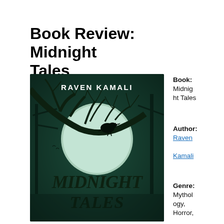Book Review: Midnight Tales
[Figure (illustration): Book cover of 'Midnight Tales' by Raven Kamali, featuring a dark teal/green moonlit scene with a bare tree, a raven perched on a branch, and stylized horror-style title text.]
Book: Midnight Tales
Author: Raven Kamali
Genre: Mythology, Horror,